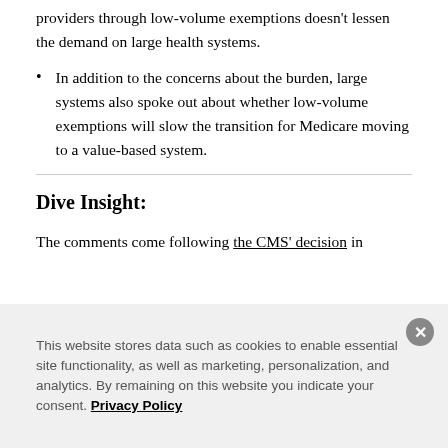providers through low-volume exemptions doesn't lessen the demand on large health systems.
In addition to the concerns about the burden, large systems also spoke out about whether low-volume exemptions will slow the transition for Medicare moving to a value-based system.
Dive Insight:
The comments come following the CMS' decision in
This website stores data such as cookies to enable essential site functionality, as well as marketing, personalization, and analytics. By remaining on this website you indicate your consent. Privacy Policy